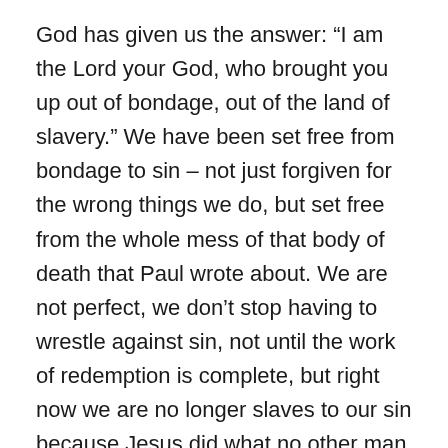God has given us the answer: “I am the Lord your God, who brought you up out of bondage, out of the land of slavery.” We have been set free from bondage to sin – not just forgiven for the wrong things we do, but set free from the whole mess of that body of death that Paul wrote about. We are not perfect, we don’t stop having to wrestle against sin, not until the work of redemption is complete, but right now we are no longer slaves to our sin because Jesus did what no other man could do – he took all of sin and evil and death upon himself, willingly and without giving in to it, and nailed it once and for all to the cross. The war is won, and we are set free from our enemy, though we continue to fight the skirmishes that follow until Christ returns.
And that is the message of hope we have to share with the world around us, who are all fighting the same battles we